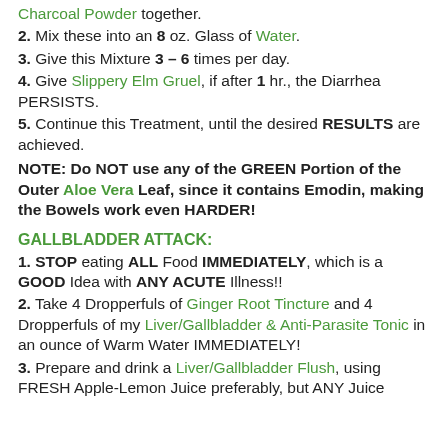Charcoal Powder together.
2. Mix these into an 8 oz. Glass of Water.
3. Give this Mixture 3 – 6 times per day.
4. Give Slippery Elm Gruel, if after 1 hr., the Diarrhea PERSISTS.
5. Continue this Treatment, until the desired RESULTS are achieved.
NOTE: Do NOT use any of the GREEN Portion of the Outer Aloe Vera Leaf, since it contains Emodin, making the Bowels work even HARDER!
GALLBLADDER ATTACK:
1. STOP eating ALL Food IMMEDIATELY, which is a GOOD Idea with ANY ACUTE Illness!!
2. Take 4 Dropperfuls of Ginger Root Tincture and 4 Dropperfuls of my Liver/Gallbladder & Anti-Parasite Tonic in an ounce of Warm Water IMMEDIATELY!
3. Prepare and drink a Liver/Gallbladder Flush, using FRESH Apple-Lemon Juice preferably, but ANY Juice